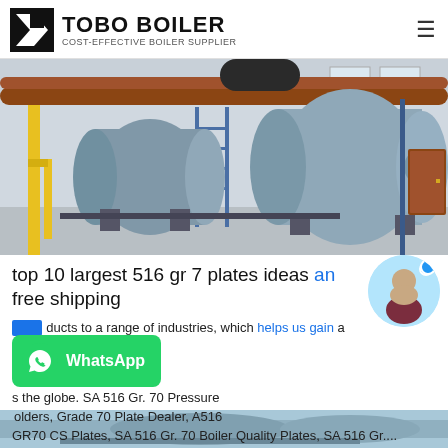TOBO BOILER — COST-EFFECTIVE BOILER SUPPLIER
[Figure (photo): Industrial boiler system with large cylindrical tanks mounted on supports inside a factory building with yellow structural columns and copper/brown pipes overhead]
top 10 largest 516 gr 7 plates ideas and free shipping
...ducts to a range of industries, which helps us gain a ... the globe. SA 516 Gr. 70 Pressure ...olders, Grade 70 Plate Dealer, A516 GR70 CS Plates, SA 516 Gr. 70 Boiler Quality Plates, SA 516 Gr....
[Figure (photo): Partial view of another industrial boiler installation at bottom of page]